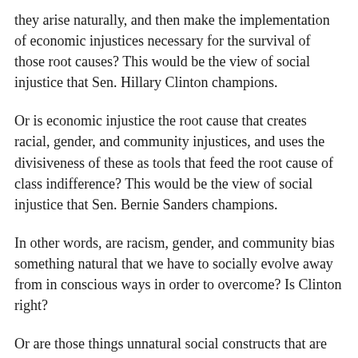they arise naturally, and then make the implementation of economic injustices necessary for the survival of those root causes? This would be the view of social injustice that Sen. Hillary Clinton champions.
Or is economic injustice the root cause that creates racial, gender, and community injustices, and uses the divisiveness of these as tools that feed the root cause of class indifference? This would be the view of social injustice that Sen. Bernie Sanders champions.
In other words, are racism, gender, and community bias something natural that we have to socially evolve away from in conscious ways in order to overcome? Is Clinton right?
Or are those things unnatural social constructs that are simply created and then preyed upon by economic injustice for its continuation? Is Sanders right?